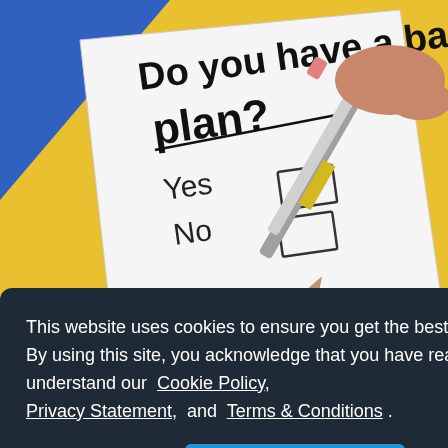[Figure (photo): A close-up photo of a paper questionnaire with bold text 'Do you have a back plan?' and checkboxes labeled Yes and No, with a pencil pointing at the No checkbox, against a yellow and blue background.]
This website uses cookies to ensure you get the best experience. By using this site, you acknowledge that you have read and understand our Cookie Policy, Privacy Statement, and Terms & Conditions .
OK
before spending on something you want than need.